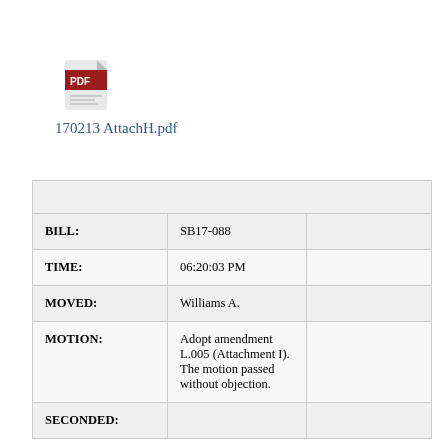[Figure (other): PDF file icon (red and white Adobe PDF logo)]
170213 AttachH.pdf
|  |  |  |
| BILL: | SB17-088 |  |
| TIME: | 06:20:03 PM |  |
| MOVED: | Williams A. |  |
| MOTION: | Adopt amendment L.005 (Attachment I). The motion passed without objection. |  |
| SECONDED: |  |  |